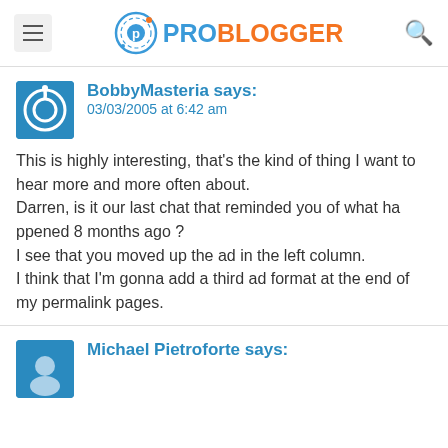ProBlogger
BobbyMasteria says:
03/03/2005 at 6:42 am
This is highly interesting, that's the kind of thing I want to hear more and more often about.
Darren, is it our last chat that reminded you of what happened 8 months ago ?
I see that you moved up the ad in the left column.
I think that I'm gonna add a third ad format at the end of my permalink pages.
Michael Pietroforte says: